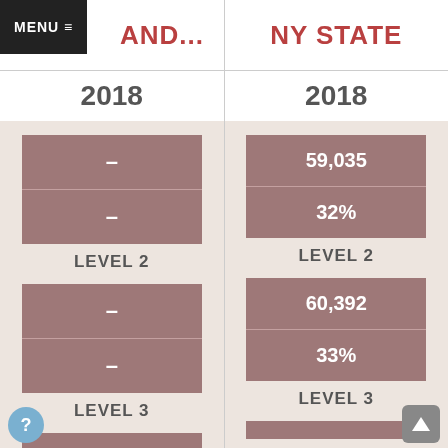MENU ≡ | ...AND... | NY STATE
2018
2018
[Figure (infographic): Left column: Level 2 data block showing dash (–) for count and dash (–) for percent. Label: LEVEL 2. Level 3 data block showing dash (–) for count and dash (–) for percent. Label: LEVEL 3. Right column: Level 2 data block showing 59,035 and 32%. Label: LEVEL 2. Level 3 data block showing 60,392 and 33%. Label: LEVEL 3.]
LEVEL 2
LEVEL 2
LEVEL 3
LEVEL 3